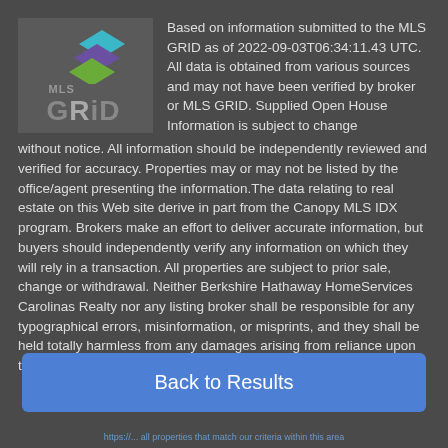[Figure (logo): MLS GRID logo with stacked diamond shapes in teal, purple, and green on a dark gray background]
Based on information submitted to the MLS GRID as of 2022-09-03T06:34:11.43 UTC. All data is obtained from various sources and may not have been verified by broker or MLS GRID. Supplied Open House Information is subject to change without notice. All information should be independently reviewed and verified for accuracy. Properties may or may not be listed by the office/agent presenting the information.The data relating to real estate on this Web site derive in part from the Canopy MLS IDX program. Brokers make an effort to deliver accurate information, but buyers should independently verify any information on which they will rely in a transaction. All properties are subject to prior sale, change or withdrawal. Neither Berkshire Hathaway HomeServices Carolinas Realty nor any listing broker shall be responsible for any typographical errors, misinformation, or misprints, and they shall be held totally harmless from any damages arising from reliance upon this data. This data is
Back to Results
https://...all properties that match our criteria within this area